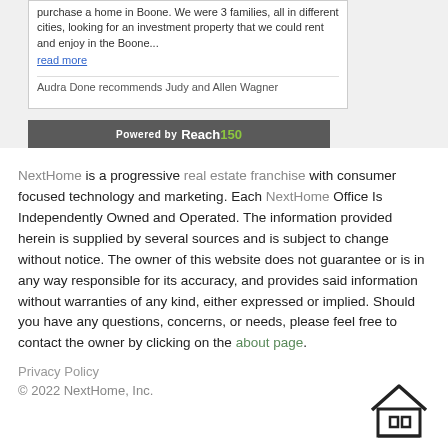purchase a home in Boone. We were 3 families, all in different cities, looking for an investment property that we could rent and enjoy in the Boone... read more
Audra Done recommends Judy and Allen Wagner
[Figure (logo): Powered by Reach150 logo on dark gray bar]
NextHome is a progressive real estate franchise with consumer focused technology and marketing. Each NextHome Office Is Independently Owned and Operated. The information provided herein is supplied by several sources and is subject to change without notice. The owner of this website does not guarantee or is in any way responsible for its accuracy, and provides said information without warranties of any kind, either expressed or implied. Should you have any questions, concerns, or needs, please feel free to contact the owner by clicking on the about page.
Privacy Policy
© 2022 NextHome, Inc.
[Figure (illustration): House/equal housing opportunity icon outline]